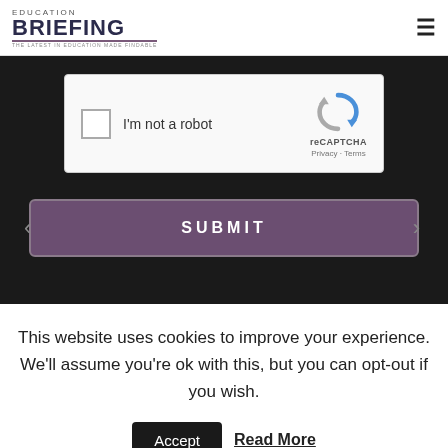EDUCATION BRIEFING — THE LATEST IN EDUCATION MADE FINDABLE
[Figure (screenshot): reCAPTCHA widget with checkbox labeled 'I'm not a robot' and reCAPTCHA logo with Privacy · Terms links]
[Figure (other): SUBMIT button with navigation arrows on dark background]
This website uses cookies to improve your experience. We'll assume you're ok with this, but you can opt-out if you wish.
Accept   Read More